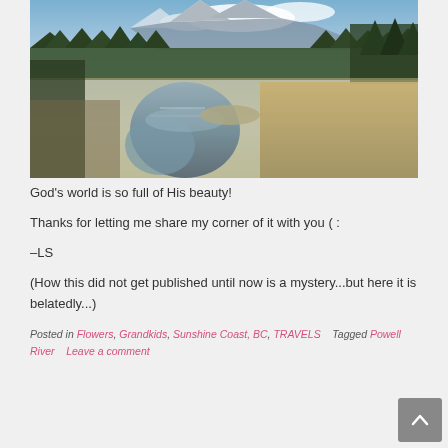[Figure (photo): Landscape photograph showing a mountain scene with snow-capped peaks, conifer forests, a river or stream in the foreground reflecting the sky and mountains, and dry golden grassland on the right bank.]
God's world is so full of His beauty!
Thanks for letting me share my corner of it with you ( :
–LS
(How this did not get published until now is a mystery...but here it is belatedly...)
Posted in Flowers, Grandkids, Sunshine Coast, BC, TRAVELS   Tagged Powell River   Leave a comment